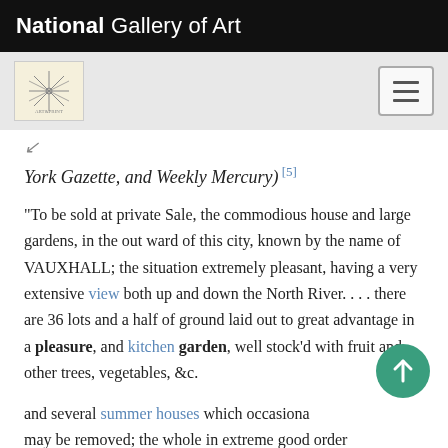National Gallery of Art
York Gazette, and Weekly Mercury) [5]
"To be sold at private Sale, the commodious house and large gardens, in the out ward of this city, known by the name of VAUXHALL; the situation extremely pleasant, having a very extensive view both up and down the North River. . . . there are 36 lots and a half of ground laid out to great advantage in a pleasure, and kitchen garden, well stock'd with fruit and other trees, vegetables, &c.
and several summer houses which occasionally may be removed; the whole in extreme good order